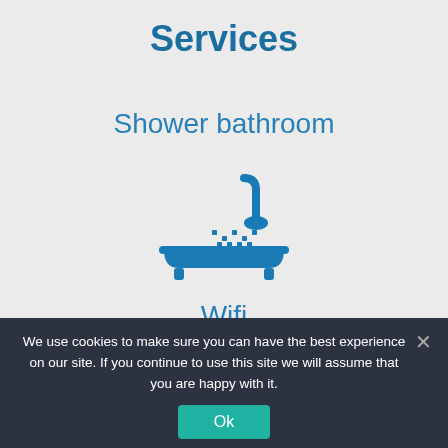Services
Shower bathroom
[Figure (illustration): Blue icon of a bathtub with a shower head spraying water droplets]
Wifi
We use cookies to make sure you can have the best experience on our site. If you continue to use this site we will assume that you are happy with it.